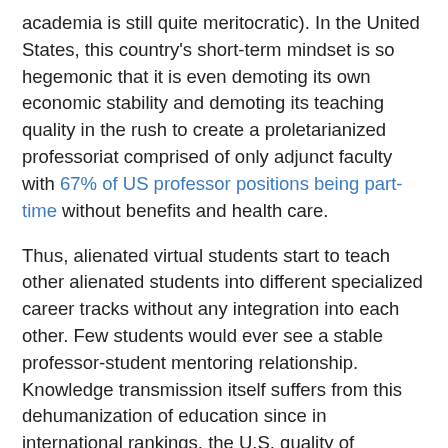academia is still quite meritocratic). In the United States, this country's short-term mindset is so hegemonic that it is even demoting its own economic stability and demoting its teaching quality in the rush to create a proletarianized professoriat comprised of only adjunct faculty with 67% of US professor positions being part-time without benefits and health care.
Thus, alienated virtual students start to teach other alienated students into different specialized career tracks without any integration into each other. Few students would ever see a stable professor-student mentoring relationship. Knowledge transmission itself suffers from this dehumanization of education since in international rankings, the U.S. quality of education has dropped abysmally over the past several decades. The results of such a miseducation in the United States is now clear. In a recent OECD comparison, the USA is dead last in numeracy, literacy, and problem solving. Even poorer non-OECD states like Russia are higher than the USA in all categories. So this choice of education arrangement toward a mentor-alienated and integration-alienated student base is joined now with the professoriat